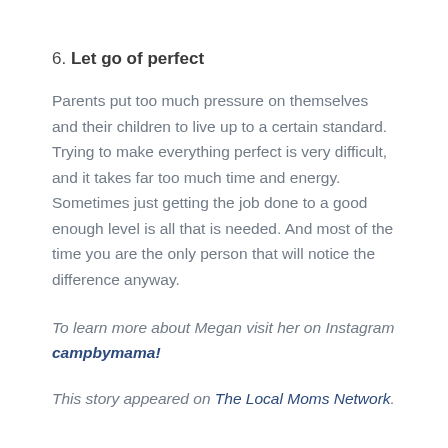6. Let go of perfect
Parents put too much pressure on themselves and their children to live up to a certain standard. Trying to make everything perfect is very difficult, and it takes far too much time and energy. Sometimes just getting the job done to a good enough level is all that is needed. And most of the time you are the only person that will notice the difference anyway.
To learn more about Megan visit her on Instagram campbymama!
This story appeared on The Local Moms Network.